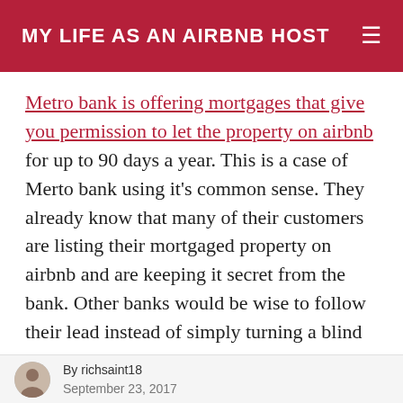MY LIFE AS AN AIRBNB HOST
Metro bank is offering mortgages that give you permission to let the property on airbnb for up to 90 days a year. This is a case of Merto bank using it's common sense. They already know that many of their customers are listing their mortgaged property on airbnb and are keeping it secret from the bank. Other banks would be wise to follow their lead instead of simply turning a blind eye.
SUPERHOST SECRETS – WHAT
By richsaint18
September 23, 2017